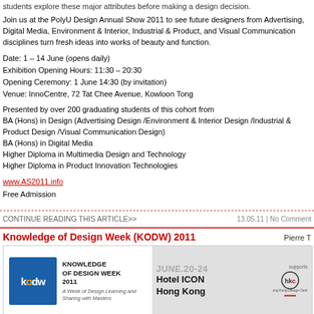students explore these major attributes before making a design decision.
Join us at the PolyU Design Annual Show 2011 to see future designers from Advertising, Digital Media, Environment & Interior, Industrial & Product, and Visual Communication disciplines turn fresh ideas into works of beauty and function.
Date: 1 – 14 June (opens daily)
Exhibition Opening Hours: 11:30 – 20:30
Opening Ceremony: 1 June 14:30 (by invitation)
Venue: InnoCentre, 72 Tat Chee Avenue, Kowloon Tong
Presented by over 200 graduating students of this cohort from
BA (Hons) in Design (Advertising Design /Environment & Interior Design /Industrial & Product Design /Visual Communication Design)
BA (Hons) in Digital Media
Higher Diploma in Multimedia Design and Technology
Higher Diploma in Product Innovation Technologies
www.AS2011.info
Free Admission
CONTINUE READING THIS ARTICLE>>
13.05.11 | No Comments
Knowledge of Design Week (KODW) 2011
Pierre T
[Figure (logo): KODW Knowledge of Design Week 2011 banner with logo on left and JUNE.20-24 Hotel ICON Hong Kong on right with Hong Kong Design Centre logo]
Design for Asia ■ Design for China
One of its kind interactive master class in Asia